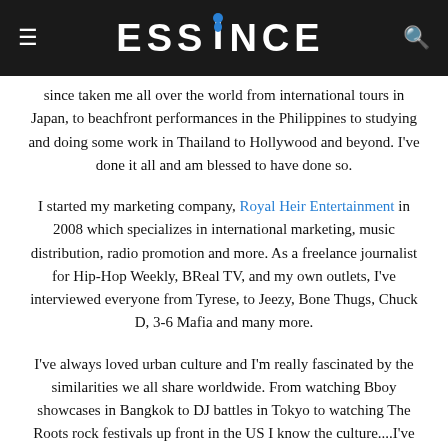ESSENCE
since taken me all over the world from international tours in Japan, to beachfront performances in the Philippines to studying and doing some work in Thailand to Hollywood and beyond. I've done it all and am blessed to have done so.
I started my marketing company, Royal Heir Entertainment in 2008 which specializes in international marketing, music distribution, radio promotion and more. As a freelance journalist for Hip-Hop Weekly, BReal TV, and my own outlets, I've interviewed everyone from Tyrese, to Jeezy, Bone Thugs, Chuck D, 3-6 Mafia and many more.
I've always loved urban culture and I'm really fascinated by the similarities we all share worldwide. From watching Bboy showcases in Bangkok to DJ battles in Tokyo to watching The Roots rock festivals up front in the US I know the culture....I've done windmills and done my share of tagging, too....I've done it all and I want to share that feeling I get when I experience it with you.